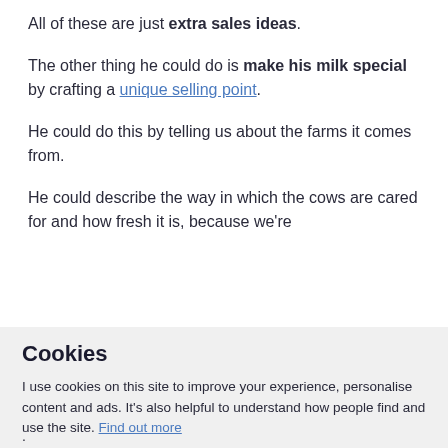All of these are just extra sales ideas.
The other thing he could do is make his milk special by crafting a unique selling point.
He could do this by telling us about the farms it comes from.
He could describe the way in which the cows are cared for and how fresh it is, because we're
Cookies
I use cookies on this site to improve your experience, personalise content and ads. It's also helpful to understand how people find and use the site. Find out more